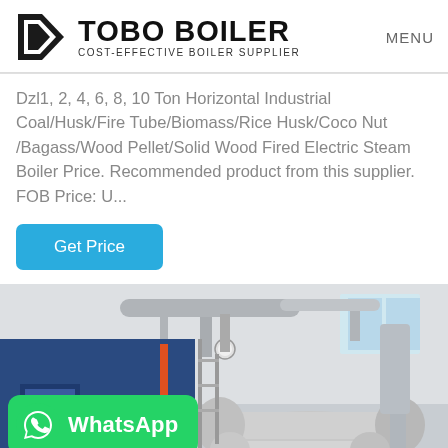[Figure (logo): Tobo Boiler logo with geometric kite/diamond icon, company name TOBO BOILER and tagline COST-EFFECTIVE BOILER SUPPLIER]
MENU
Dzl1, 2, 4, 6, 8, 10 Ton Horizontal Industrial Coal/Husk/Fire Tube/Biomass/Rice Husk/Coco Nut /Bagass/Wood Pellet/Solid Wood Fired Electric Steam Boiler Price. Recommended product from this supplier. FOB Price: U...
[Figure (other): Get Price button - blue rounded rectangle with white text]
[Figure (photo): Industrial boiler equipment in a factory or facility, showing large cylindrical metal boiler tanks with piping and ducts overhead, blue casing on left side]
[Figure (logo): WhatsApp banner overlay on photo - green rounded rectangle with WhatsApp icon and bold white text WhatsApp]